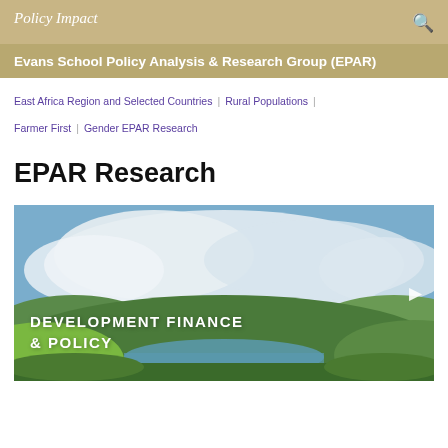Policy Impact
Evans School Policy Analysis & Research Group (EPAR)
East Africa Region and Selected Countries | Rural Populations | Farmer First | Gender EPAR Research
EPAR Research
[Figure (photo): Landscape photo showing green hills, a lake or river, and cloudy sky with text overlay reading DEVELOPMENT FINANCE & POLICY and a play button arrow on the right]